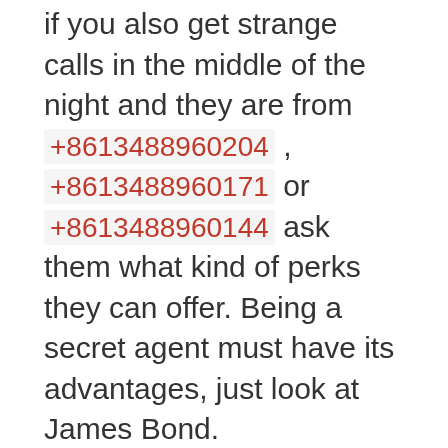if you also get strange calls in the middle of the night and they are from +8613488960204 , +8613488960171 or +8613488960144 ask them what kind of perks they can offer. Being a secret agent must have its advantages, just look at James Bond.
Feedback
Do you have any thoughts you want to share? A question, maybe? Or is something in this